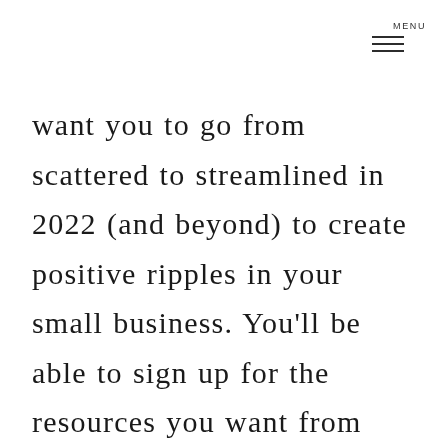MENU
want you to go from scattered to streamlined in 2022 (and beyond) to create positive ripples in your small business. You’ll be able to sign up for the resources you want from some incredible educators who are experts in their fields.